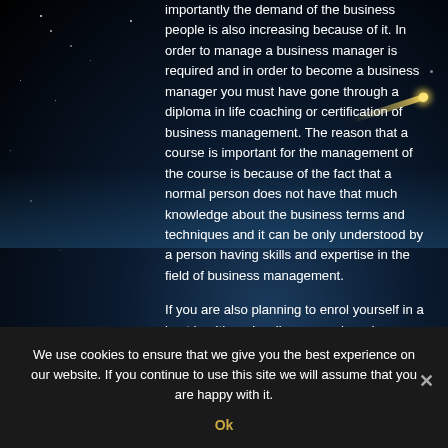importantly the demand of the business people is also increasing because of it. In order to manage a business manager is required and in order to become a business manager you must have gone through a diploma in life coaching or certification of business management. The reason that a course is important for the management of the course is because of the fact that a normal person does not have that much knowledge about the business terms and techniques and it can be only understood by a person having skills and expertise in the field of business management.
If you are also planning to enrol yourself in a best health and wellness coach or degree
We use cookies to ensure that we give you the best experience on our website. If you continue to use this site we will assume that you are happy with it.
Ok